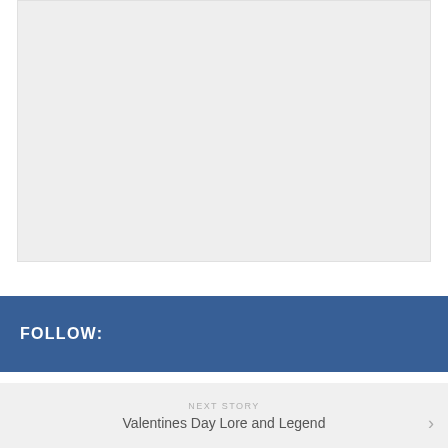[Figure (other): Large light gray placeholder image area occupying the upper portion of the page]
FOLLOW:
NEXT STORY
Valentines Day Lore and Legend